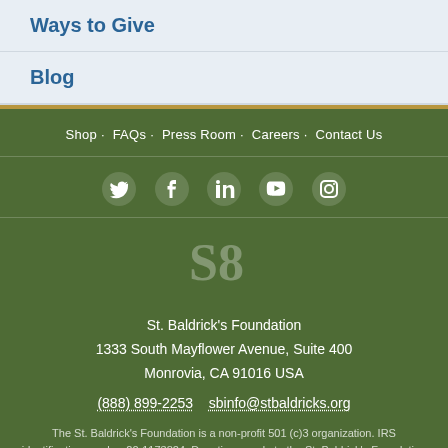Ways to Give
Blog
Shop · FAQs · Press Room · Careers · Contact Us
[Figure (infographic): Social media icons: Twitter, Facebook, LinkedIn, YouTube, Instagram]
[Figure (logo): St. Baldrick's Foundation logo - SB monogram in faded green]
St. Baldrick's Foundation
1333 South Mayflower Avenue, Suite 400
Monrovia, CA 91016 USA
(888) 899-2253   sbinfo@stbaldricks.org
The St. Baldrick's Foundation is a non-profit 501 (c)3 organization. IRS identification number 20-1173824. Donations made to the St. Baldrick's Foundation are tax deductible in the U.S.   Privacy Policy   Diversity Policy